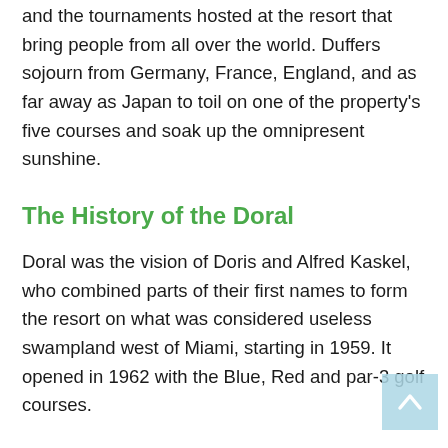and the tournaments hosted at the resort that bring people from all over the world. Duffers sojourn from Germany, France, England, and as far away as Japan to toil on one of the property's five courses and soak up the omnipresent sunshine.
The History of the Doral
Doral was the vision of Doris and Alfred Kaskel, who combined parts of their first names to form the resort on what was considered useless swampland west of Miami, starting in 1959. It opened in 1962 with the Blue, Red and par-3 golf courses.